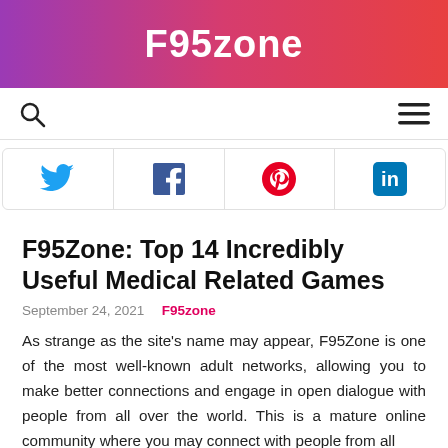F95zone
[Figure (other): Social share bar with Twitter, Facebook, Pinterest, LinkedIn icons]
F95Zone: Top 14 Incredibly Useful Medical Related Games
September 24, 2021  F95zone
As strange as the site's name may appear, F95Zone is one of the most well-known adult networks, allowing you to make better connections and engage in open dialogue with people from all over the world. This is a mature online community where you may connect with people from all